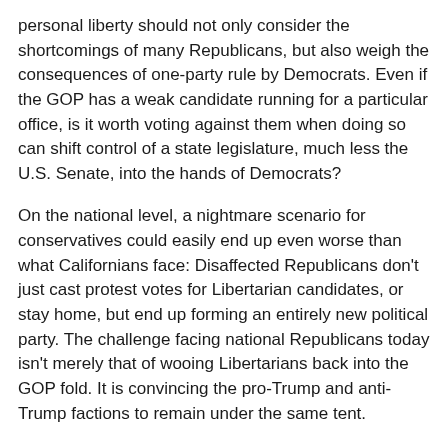personal liberty should not only consider the shortcomings of many Republicans, but also weigh the consequences of one-party rule by Democrats. Even if the GOP has a weak candidate running for a particular office, is it worth voting against them when doing so can shift control of a state legislature, much less the U.S. Senate, into the hands of Democrats?
On the national level, a nightmare scenario for conservatives could easily end up even worse than what Californians face: Disaffected Republicans don't just cast protest votes for Libertarian candidates, or stay home, but end up forming an entirely new political party. The challenge facing national Republicans today isn't merely that of wooing Libertarians back into the GOP fold. It is convincing the pro-Trump and anti-Trump factions to remain under the same tent.
And by the way, as all of this plays out, why aren't billionaire conservatives pouring money into the Green Party so they can run viable candidates, everywhere, splitting the liberal vote?